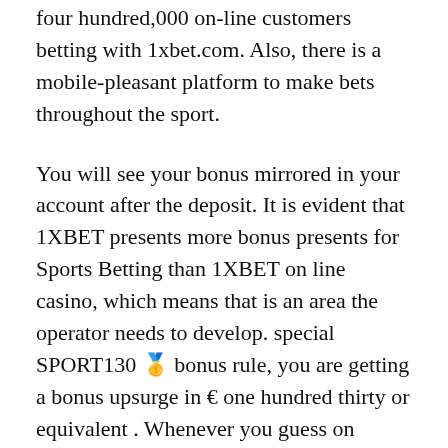four hundred,000 on-line customers betting with 1xbet.com. Also, there is a mobile-pleasant platform to make bets throughout the sport.
You will see your bonus mirrored in your account after the deposit. It is evident that 1XBET presents more bonus presents for Sports Betting than 1XBET on line casino, which means that is an area the operator needs to develop. special SPORT130 🥇 bonus rule, you are getting a bonus upsurge in € one hundred thirty or equivalent . Whenever you guess on 1XBET, you are rewarded with dedication points that may be transformed into money in your wagering account or spent inside other bonus packages that fit you. Using on-line coupon codes or promo hyperlinks when buying on-line could possibly be similar to utilizing paper coupons or shopping the gross sales at